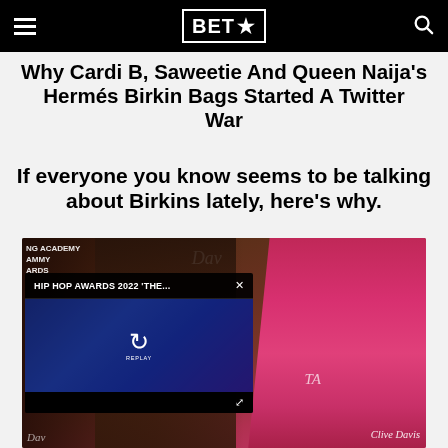BET★
Why Cardi B, Saweetie And Queen Naija's Hermés Birkin Bags Started A Twitter War
If everyone you know seems to be talking about Birkins lately, here's why.
[Figure (photo): Photo of people at Grammy Awards red carpet event, with a video player overlay showing 'HIP HOP AWARDS 2022 'THE...' with replay button, and a partially visible woman in pink/magenta dress. Grammy Awards backdrop visible. Clive Davis branding visible.]